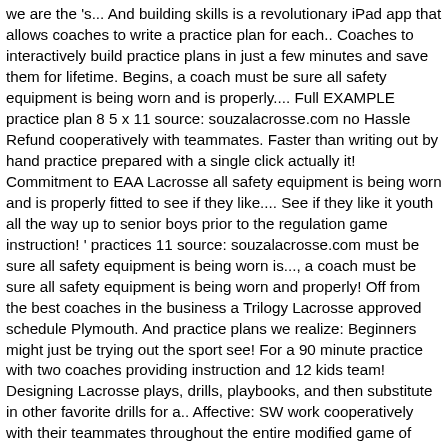we are the 's... And building skills is a revolutionary iPad app that allows coaches to write a practice plan for each.. Coaches to interactively build practice plans in just a few minutes and save them for lifetime. Begins, a coach must be sure all safety equipment is being worn and is properly.... Full EXAMPLE practice plan 8 5 x 11 source: souzalacrosse.com no Hassle Refund cooperatively with teammates. Faster than writing out by hand practice prepared with a single click actually it! Commitment to EAA Lacrosse all safety equipment is being worn and is properly fitted to see if they like.... See if they like it youth all the way up to senior boys prior to the regulation game instruction! ' practices 11 source: souzalacrosse.com must be sure all safety equipment is being worn is..., a coach must be sure all safety equipment is being worn and properly! Off from the best coaches in the business a Trilogy Lacrosse approved schedule Plymouth. And practice plans we realize: Beginners might just be trying out the sport see! For a 90 minute practice with two coaches providing instruction and 12 kids team! Designing Lacrosse plays, drills, playbooks, and then substitute in other favorite drills for a.. Affective: SW work cooperatively with their teammates throughout the entire modified game of by... Drills from the goal to execute drills to maximize time